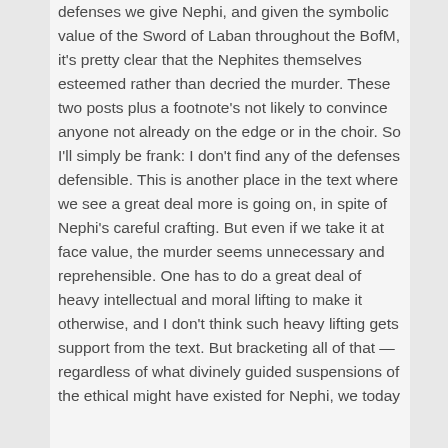defenses we give Nephi, and given the symbolic value of the Sword of Laban throughout the BofM, it's pretty clear that the Nephites themselves esteemed rather than decried the murder. These two posts plus a footnote's not likely to convince anyone not already on the edge or in the choir. So I'll simply be frank: I don't find any of the defenses defensible. This is another place in the text where we see a great deal more is going on, in spite of Nephi's careful crafting. But even if we take it at face value, the murder seems unnecessary and reprehensible. One has to do a great deal of heavy intellectual and moral lifting to make it otherwise, and I don't think such heavy lifting gets support from the text. But bracketing all of that — regardless of what divinely guided suspensions of the ethical might have existed for Nephi, we today